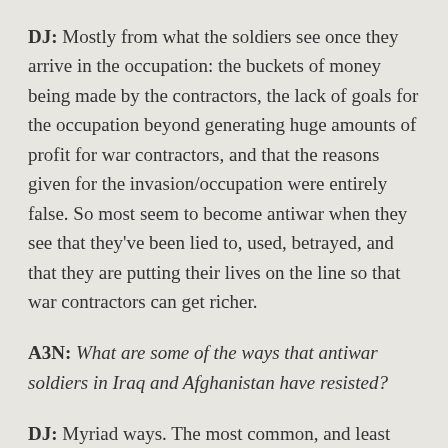DJ: Mostly from what the soldiers see once they arrive in the occupation: the buckets of money being made by the contractors, the lack of goals for the occupation beyond generating huge amounts of profit for war contractors, and that the reasons given for the invasion/occupation were entirely false. So most seem to become antiwar when they see that they've been lied to, used, betrayed, and that they are putting their lives on the line so that war contractors can get richer.
A3N: What are some of the ways that antiwar soldiers in Iraq and Afghanistan have resisted?
DJ: Myriad ways. The most common, and least dramatic, is going AWOL. More than 60,000 soldiers have now taken that route since 11 September 2001.